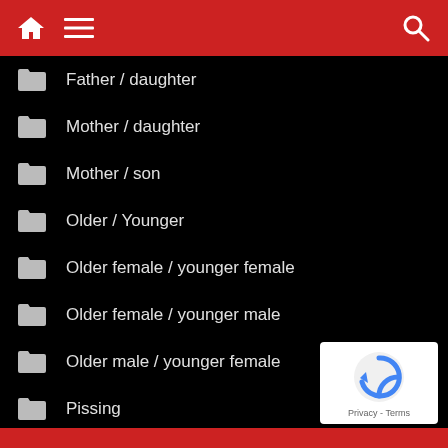Navigation bar with home, menu and search icons
Father / daughter
Mother / daughter
Mother / son
Older / Younger
Older female / younger female
Older female / younger male
Older male / younger female
Pissing
Pregnant
Public
[Figure (logo): reCAPTCHA badge with Privacy and Terms text]